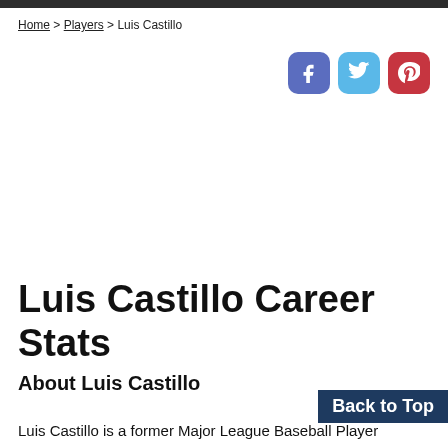Home > Players > Luis Castillo
[Figure (infographic): Social media share buttons: Facebook (blue-purple), Twitter (light blue), Pinterest (red)]
Luis Castillo Career Stats
About Luis Castillo
Back to Top
Luis Castillo is a former Major League Baseball Player